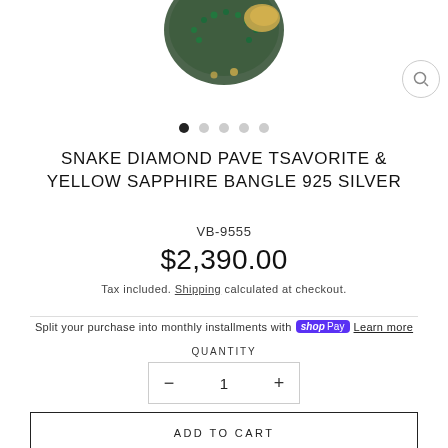[Figure (photo): Snake bangle bracelet with green tsavorite stones and yellow gold accents, shown from above against white background]
SNAKE DIAMOND PAVE TSAVORITE & YELLOW SAPPHIRE BANGLE 925 SILVER
VB-9555
$2,390.00
Tax included. Shipping calculated at checkout.
Split your purchase into monthly installments with Shop Pay Learn more
QUANTITY
ADD TO CART